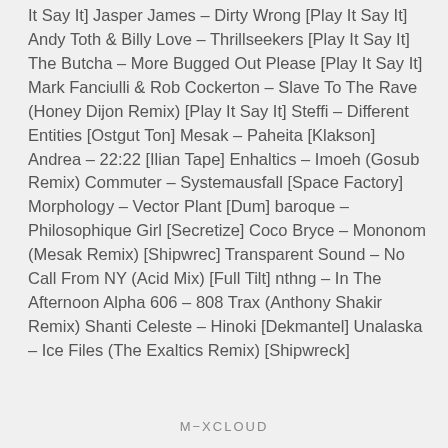It Say It] Jasper James – Dirty Wrong [Play It Say It] Andy Toth & Billy Love – Thrillseekers [Play It Say It] The Butcha – More Bugged Out Please [Play It Say It] Mark Fanciulli & Rob Cockerton – Slave To The Rave (Honey Dijon Remix) [Play It Say It] Steffi – Different Entities [Ostgut Ton] Mesak – Paheita [Klakson] Andrea – 22:22 [Ilian Tape] Enhaltics – Imoeh (Gosub Remix) Commuter – Systemausfall [Space Factory] Morphology – Vector Plant [Dum] baroque – Philosophique Girl [Secretize] Coco Bryce – Mononom (Mesak Remix) [Shipwrec] Transparent Sound – No Call From NY (Acid Mix) [Full Tilt] nthng – In The Afternoon Alpha 606 – 808 Trax (Anthony Shakir Remix) Shanti Celeste – Hinoki [Dekmantel] Unalaska – Ice Files (The Exaltics Remix) [Shipwreck]
M−XCLOUD